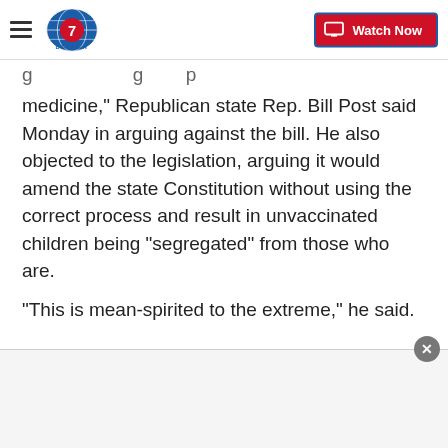Denver7 — Watch Now
medicine," Republican state Rep. Bill Post said Monday in arguing against the bill. He also objected to the legislation, arguing it would amend the state Constitution without using the correct process and result in unvaccinated children being "segregated" from those who are.
"This is mean-spirited to the extreme," he said.
One of the Democratic lawmakers who voted against the bill argued that it "overreaches" and doesn't allow